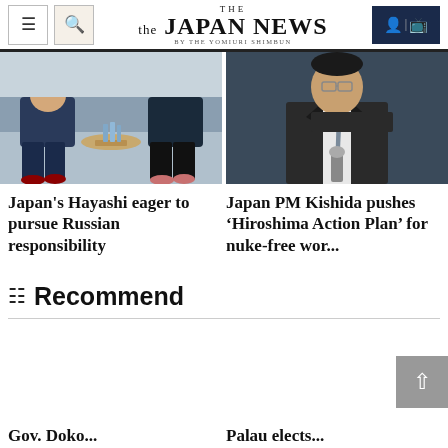THE JAPAN NEWS BY THE YOMIURI SHIMBUN
[Figure (photo): Two people sitting in chairs at a meeting, leaning forward]
[Figure (photo): A man in a suit speaking at a podium or microphone]
Japan's Hayashi eager to pursue Russian responsibility
Japan PM Kishida pushes ‘Hiroshima Action Plan’ for nuke-free wor...
Recommend